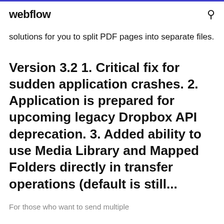webflow
solutions for you to split PDF pages into separate files.
Version 3.2 1. Critical fix for sudden application crashes. 2. Application is prepared for upcoming legacy Dropbox API deprecation. 3. Added ability to use Media Library and Mapped Folders directly in transfer operations (default is still...
For those who want to send multiple